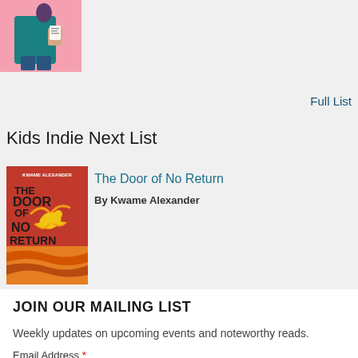[Figure (illustration): Book cover illustration at top left showing a person in teal jacket against pink background]
Full List
Kids Indie Next List
[Figure (illustration): Book cover for 'The Door of No Return' by Kwame Alexander — red background with golden bird, black bold title text]
The Door of No Return
By Kwame Alexander
Full List
JOIN OUR MAILING LIST
Weekly updates on upcoming events and noteworthy reads.
Email Address *